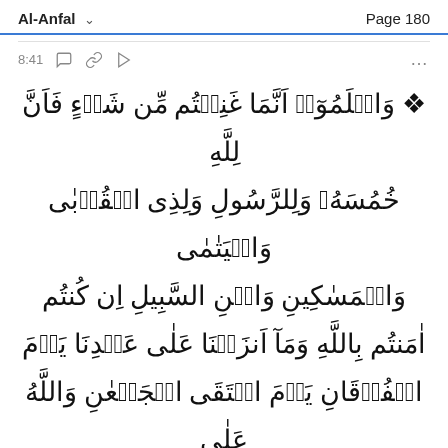Al-Anfal    Page 180
8:41 ... (icons: comment, link, play)
وَاعْلَمُوٓا۟ أَنَّمَا غَنِمْتُم مِّن شَىْءٍ فَأَنَّ لِلَّهِ خُمُسَهُۥ وَلِلرَّسُولِ وَلِذِى ٱلْقُرْبَىٰ وَٱلْيَتَٰمَىٰ وَٱلْمَسَٰكِينِ وَٱبْنِ ٱلسَّبِيلِ إِن كُنتُمْ ءَامَنتُم بِٱللَّهِ وَمَآ أَنزَلْنَا عَلَىٰ عَبْدِنَا يَوْمَ ٱلْفُرْقَانِ يَوْمَ ٱلْتَقَى ٱلْجَمْعَانِ وَٱللَّهُ عَلَىٰ